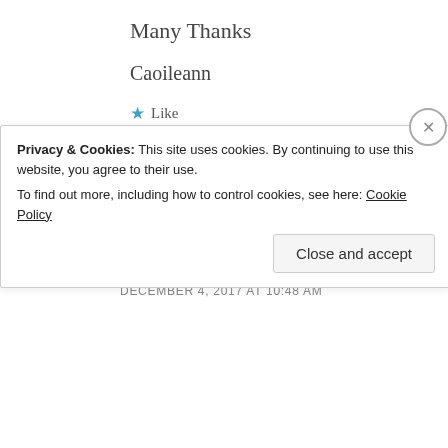Many Thanks
Caoileann
★ Like
REPLY
[Figure (illustration): Avatar icon for Joan Mulcahy — a square geometric diamond/cross pattern in brown and white]
Joan Mulcahy
DECEMBER 4, 2017 AT 10:48 AM
Privacy & Cookies: This site uses cookies. By continuing to use this website, you agree to their use.
To find out more, including how to control cookies, see here: Cookie Policy
Close and accept